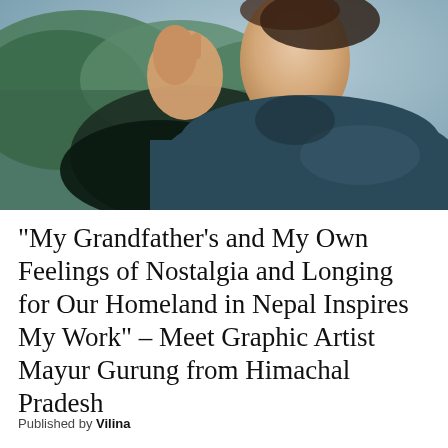[Figure (photo): A young person in a dark blue/teal knit sweater photographed from behind/profile, hand raised near their face, with a forested mountainous landscape in the background under a hazy sky.]
“My Grandfather’s and My Own Feelings of Nostalgia and Longing for Our Homeland in Nepal Inspires My Work” – Meet Graphic Artist Mayur Gurung from Himachal Pradesh
Published by Vilina